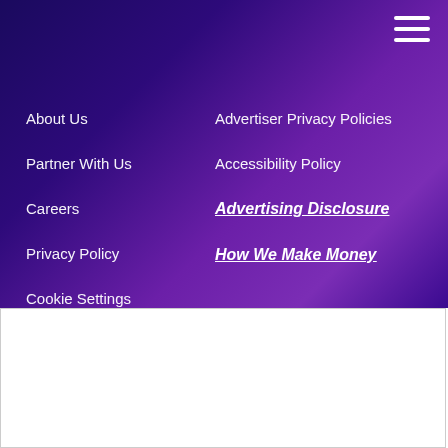About Us
Advertiser Privacy Policies
Partner With Us
Accessibility Policy
Careers
Advertising Disclosure
Privacy Policy
How We Make Money
Cookie Settings
We use cookies to improve your experience and to enable you to enjoy the full functionality of our site.
Cookie Settings
Accept Cookies